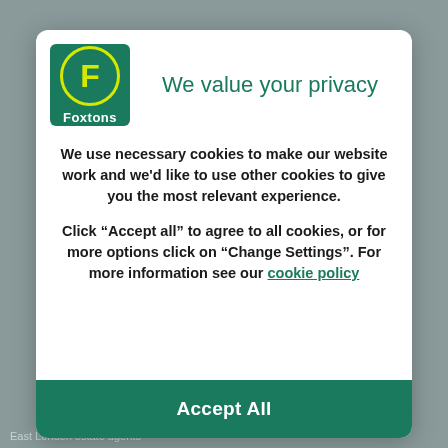[Figure (logo): Foxtons logo: green square with circular yellow-bordered logo containing yellow letter F, with white text 'Foxtons' below]
We value your privacy
We use necessary cookies to make our website work and we'd like to use other cookies to give you the most relevant experience.
Click “Accept all” to agree to all cookies, or for more options click on “Change Settings”. For more information see our cookie policy
Accept All
East London estate agents